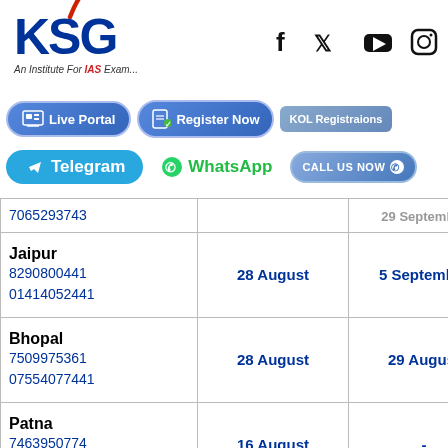[Figure (logo): KSG Institute logo with red arrow and social media icons (Facebook, Twitter, YouTube, Instagram)]
[Figure (infographic): Navigation buttons: Live Portal, Register Now, KOL Registrations, Telegram, WhatsApp, CALL US NOW]
| City / Phone | Start Date | End Date |
| --- | --- | --- |
| 7065293743 | 29 September (partial) |  |
| Jaipur
8290800441
01414052441 | 28 August | 5 September |
| Bhopal
7509975361
07554077441 | 28 August | 29 August |
| Patna
7463950774
06122500961 | 16 August | - |
| Indore |  |  |